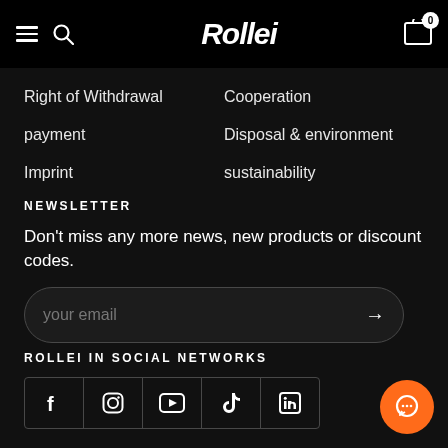Rollei
Right of Withdrawal
Cooperation
payment
Disposal & environment
Imprint
sustainability
NEWSLETTER
Don't miss any more news, new products or discount codes.
your email
ROLLEI IN SOCIAL NETWORKS
[Figure (other): Social media icons: Facebook, Instagram, YouTube, TikTok, LinkedIn]